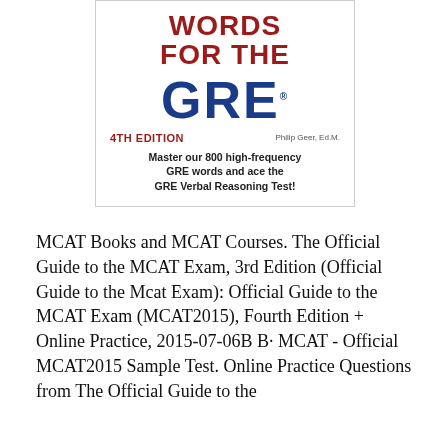[Figure (illustration): Book cover for 'Words for the GRE, 4th Edition' by Philip Geer, Ed.M. Cover shows the title in red and blue on white background with subtitle 'Master our 800 high-frequency GRE words and ace the GRE Verbal Reasoning Test!']
MCAT Books and MCAT Courses. The Official Guide to the MCAT Exam, 3rd Edition (Official Guide to the Mcat Exam): Official Guide to the MCAT Exam (MCAT2015), Fourth Edition + Online Practice, 2015-07-06B B· MCAT - Official MCAT2015 Sample Test. Online Practice Questions from The Official Guide to the